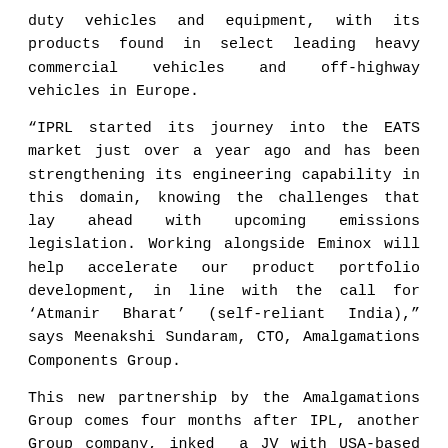duty vehicles and equipment, with its products found in select leading heavy commercial vehicles and off-highway vehicles in Europe.
“IPRL started its journey into the EATS market just over a year ago and has been strengthening its engineering capability in this domain, knowing the challenges that lay ahead with upcoming emissions legislation. Working alongside Eminox will help accelerate our product portfolio development, in line with the call for ‘Atmanir Bharat’ (self-reliant India),” says Meenakshi Sundaram, CTO, Amalgamations Components Group.
This new partnership by the Amalgamations Group comes four months after IPL, another Group company, inked a JV with USA-based Shaw Development, to manufacture DEF (diesel exhaust fluid) solutions for heavy duty vehicle (CV and Off-Road) and diesel engine manufacturers. The Chennai-headquartered Group may be looking at another inorganic